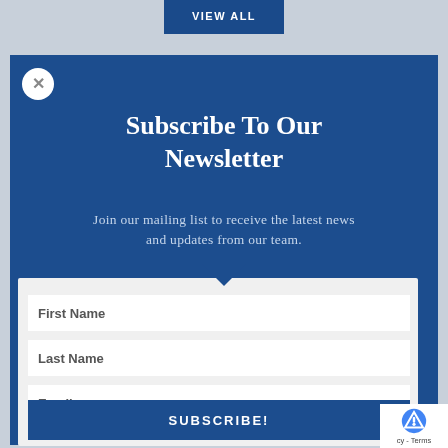VIEW ALL
Subscribe To Our Newsletter
Join our mailing list to receive the latest news and updates from our team.
First Name
Last Name
Email
SUBSCRIBE!